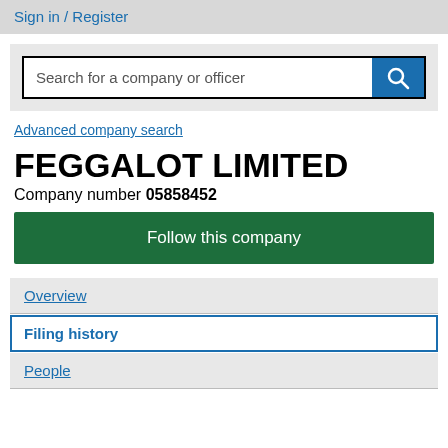Sign in / Register
Search for a company or officer
Advanced company search
FEGGALOT LIMITED
Company number 05858452
Follow this company
Overview
Filing history
People